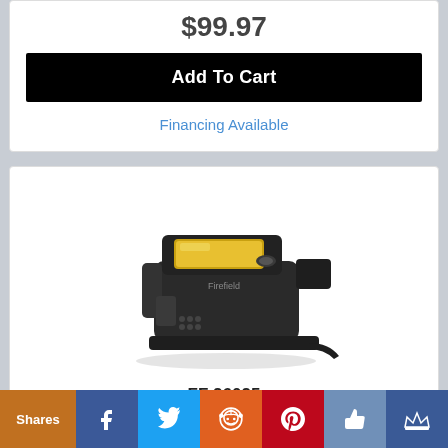$99.97
Add To Cart
Financing Available
[Figure (photo): Black Firefield red dot sight / reflex scope with yellow lens, shown at an angle with mount lever visible.]
FF 26025
Firefield
Shares